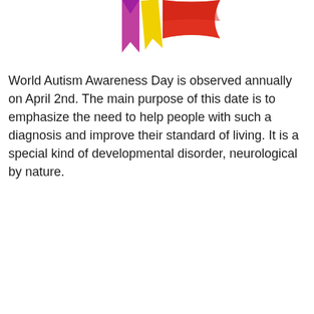[Figure (illustration): Colorful puzzle piece flags or banners in purple, yellow, and red/orange colors, partially cropped at the top of the page, associated with World Autism Awareness Day imagery.]
World Autism Awareness Day is observed annually on April 2nd. The main purpose of this date is to emphasize the need to help people with such a diagnosis and improve their standard of living. It is a special kind of developmental disorder, neurological by nature.